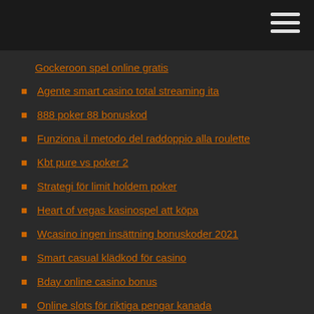Gockeroon spel online gratis
Agente smart casino total streaming ita
888 poker 88 bonuskod
Funziona il metodo del raddoppio alla roulette
Kbt pure vs poker 2
Strategi för limit holdem poker
Heart of vegas kasinospel att köpa
Wcasino ingen insättning bonuskoder 2021
Smart casual klädkod för casino
Bday online casino bonus
Online slots för riktiga pengar kanada
Trada bonuskoder utan insättning
Palm beach casino cannes wiki
Slot 1 moto g2 nao funciona
South beach bingo online casino